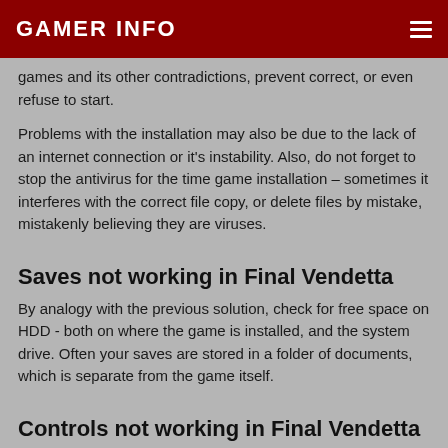GAMER INFO
games and its other contradictions, prevent correct, or even refuse to start.
Problems with the installation may also be due to the lack of an internet connection or it's instability. Also, do not forget to stop the antivirus for the time game installation – sometimes it interferes with the correct file copy, or delete files by mistake, mistakenly believing they are viruses.
Saves not working in Final Vendetta
By analogy with the previous solution, check for free space on HDD - both on where the game is installed, and the system drive. Often your saves are stored in a folder of documents, which is separate from the game itself.
Controls not working in Final Vendetta
Sometimes the controls in game do not work because of